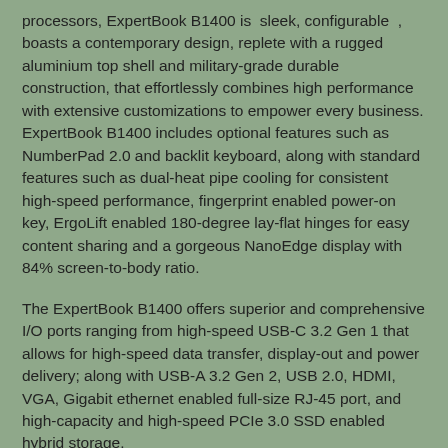processors, ExpertBook B1400 is sleek, configurable , boasts a contemporary design, replete with a rugged aluminium top shell and military-grade durable construction, that effortlessly combines high performance with extensive customizations to empower every business. ExpertBook B1400 includes optional features such as NumberPad 2.0 and backlit keyboard, along with standard features such as dual-heat pipe cooling for consistent high-speed performance, fingerprint enabled power-on key, ErgoLift enabled 180-degree lay-flat hinges for easy content sharing and a gorgeous NanoEdge display with 84% screen-to-body ratio.
The ExpertBook B1400 offers superior and comprehensive I/O ports ranging from high-speed USB-C 3.2 Gen 1 that allows for high-speed data transfer, display-out and power delivery; along with USB-A 3.2 Gen 2, USB 2.0, HDMI, VGA, Gigabit ethernet enabled full-size RJ-45 port, and high-capacity and high-speed PCIe 3.0 SSD enabled hybrid storage.
Commenting on the launch of the ExpertBook B1400, Dinesh